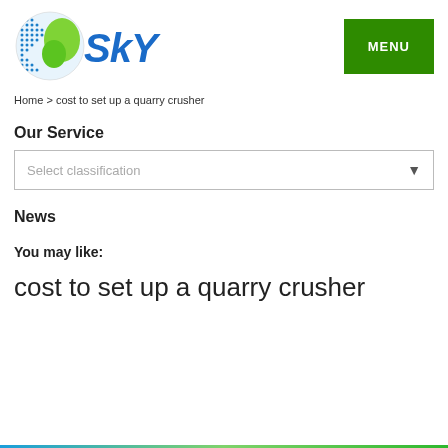[Figure (logo): SKY company logo with globe icon on left and blue SKY text on right]
MENU
Home > cost to set up a quarry crusher
Our Service
Select classification
News
You may like:
cost to set up a quarry crusher